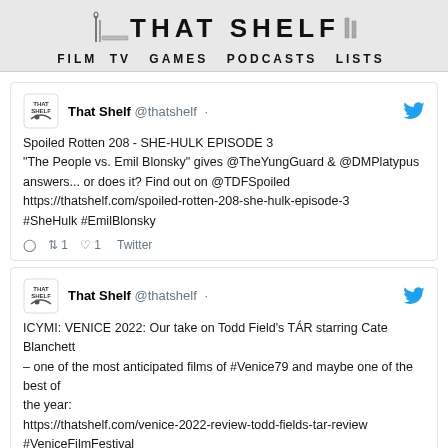THAT SHELF — FILM TV GAMES PODCASTS LISTS
That Shelf @thatshelf
Spoiled Rotten 208 - SHE-HULK EPISODE 3
"The People vs. Emil Blonsky" gives @TheYungGuard & @DMPlatypus answers... or does it? Find out on @TDFSpoiled
https://thatshelf.com/spoiled-rotten-208-she-hulk-episode-3
#SheHulk #EmilBlonsky
1 ♡1 Twitter
That Shelf @thatshelf
ICYMI: VENICE 2022: Our take on Todd Field's TÁR starring Cate Blanchett – one of the most anticipated films of #Venice79 and maybe one of the best of the year:
https://thatshelf.com/venice-2022-review-todd-fields-tar-review
#VeniceFilmFestival
Twitter